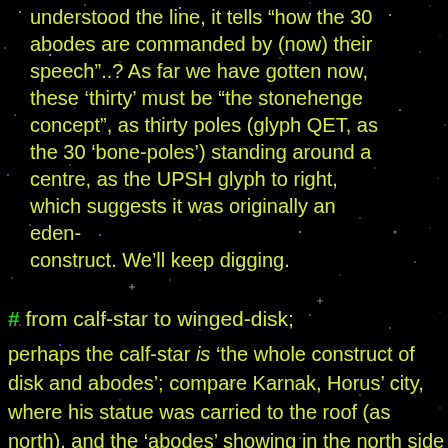understood the line, it tells “how the 30 abodes are commanded by (now) their speech”..? As far we have gotten now, these ‘thirty’ must be “the stonehenge concept”, as thirty poles (glyph QET, as the 30 ‘bone-poles’) standing around a centre, as the UPSH glyph to right, which suggests it was originally an eden-construct. We’ll keep digging.
# from calf-star to winged-disk;
perhaps the calf-star is ‘the whole construct of disk and abodes’; compare Karnak, Horus’ city, where his statue was carried to the roof (as north), and the ‘abodes’ showing in the north side of that temple;